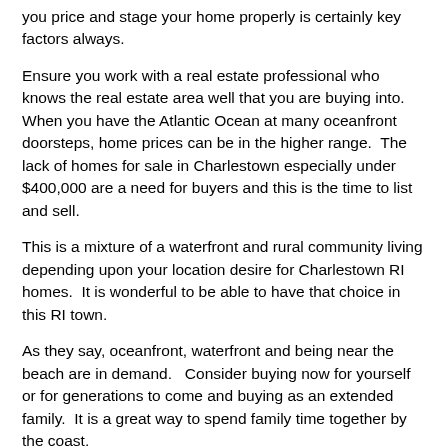you price and stage your home properly is certainly key factors always.
Ensure you work with a real estate professional who knows the real estate area well that you are buying into.  When you have the Atlantic Ocean at many oceanfront doorsteps, home prices can be in the higher range.  The lack of homes for sale in Charlestown especially under $400,000 are a need for buyers and this is the time to list and sell.
This is a mixture of a waterfront and rural community living depending upon your location desire for Charlestown RI homes.  It is wonderful to be able to have that choice in this RI town.
As they say, oceanfront, waterfront and being near the beach are in demand.   Consider buying now for yourself or for generations to come and buying as an extended family.  It is a great way to spend family time together by the coast.
Home buyers are actively seeking good property values and lower priced affordable homes with the town's lower real estate taxes.  This makes Charlestown a highly desirable community to buy into.